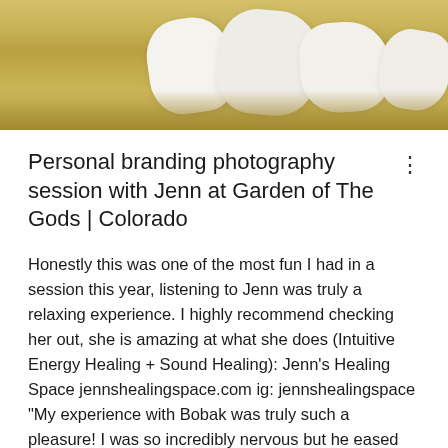[Figure (photo): Outdoor photo of white fabric/cloth items nestled in dry golden grass field]
Personal branding photography session with Jenn at Garden of The Gods | Colorado
Honestly this was one of the most fun I had in a session this year, listening to Jenn was truly a relaxing experience. I highly recommend checking her out, she is amazing at what she does (Intuitive Energy Healing + Sound Healing): Jenn's Healing Space jennshealingspace.com ig: jennshealingspace “My experience with Bobak was truly such a pleasure! I was so incredibly nervous but he eased my